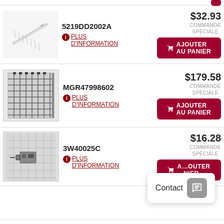[Figure (photo): Partial view of top row with red Add to Cart button]
[Figure (photo): Thin metal slide rail or telescoping rod part]
5219DD2002A
PLUS D'INFORMATION
$32.93 COMMANDE SPÉCIALE
AJOUTER AU PANIER
[Figure (photo): Wire rack/grid shelf part]
MGR47998602
PLUS D'INFORMATION
$179.58 COMMANDE SPÉCIALE
AJOUTER AU PANIER
[Figure (photo): Small electronic component/switch on grid background]
3W40025C
PLUS D'INFORMATION
$16.28 COMMANDE SPÉCIALE
AJOUTER AU PANIER
Contact